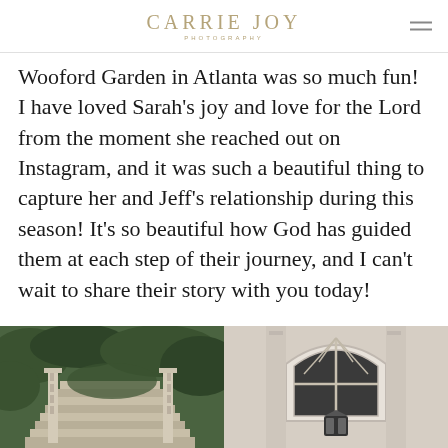CARRIE JOY PHOTOGRAPHY
Wooford Garden in Atlanta was so much fun! I have loved Sarah’s joy and love for the Lord from the moment she reached out on Instagram, and it was such a beautiful thing to capture her and Jeff’s relationship during this season! It’s so beautiful how God has guided them at each step of their journey, and I can’t wait to share their story with you today!
[Figure (photo): Two side-by-side photos: left shows stone staircase with balustrade at Wooford Garden in Atlanta surrounded by greenery; right shows an arched window with a lantern beneath it on a white classical building facade.]